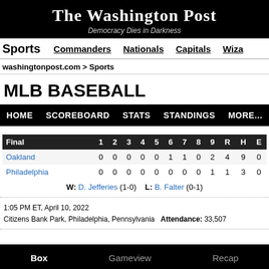The Washington Post
Democracy Dies in Darkness
Sports   Commanders   Nationals   Capitals   Wiza
washingtonpost.com > Sports
MLB BASEBALL
HOME   SCOREBOARD   STATS   STANDINGS   MORE...
| Final | 1 | 2 | 3 | 4 | 5 | 6 | 7 | 8 | 9 | R | H | E |
| --- | --- | --- | --- | --- | --- | --- | --- | --- | --- | --- | --- | --- |
| Oakland | 0 | 0 | 0 | 0 | 0 | 1 | 1 | 0 | 2 | 4 | 9 | 0 |
| Philadelphia | 0 | 0 | 0 | 0 | 0 | 0 | 0 | 0 | 1 | 1 | 3 | 0 |
|  | W: D. Jefferies (1-0)   L: B. Falter (0-1) |  |  |  |  |  |  |  |  |  |  |  |
1:05 PM ET, April 10, 2022
Citizens Bank Park, Philadelphia, Pennsylvania  Attendance: 33,507
Box   Gameview   Recap